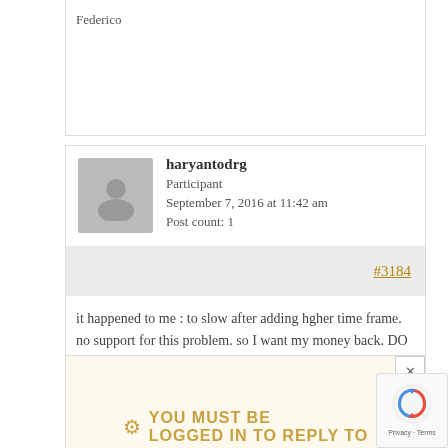Federico
haryantodrg
Participant
September 7, 2016 at 11:42 am
Post count: 1
#3184
it happened to me : to slow after adding hgher time frame. no support for this problem. so I want my money back. DO you receive my refund?
YOU MUST BE LOGGED IN TO REPLY TO